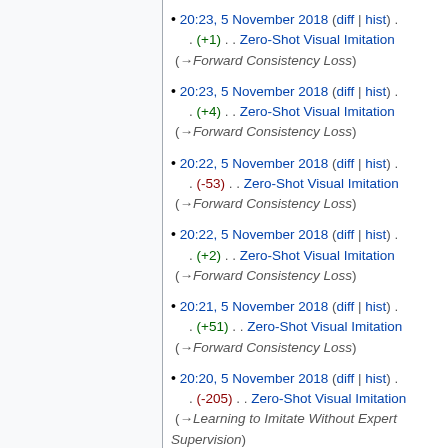20:23, 5 November 2018 (diff | hist) . . (+1) . . Zero-Shot Visual Imitation (→Forward Consistency Loss)
20:23, 5 November 2018 (diff | hist) . . (+4) . . Zero-Shot Visual Imitation (→Forward Consistency Loss)
20:22, 5 November 2018 (diff | hist) . . (-53) . . Zero-Shot Visual Imitation (→Forward Consistency Loss)
20:22, 5 November 2018 (diff | hist) . . (+2) . . Zero-Shot Visual Imitation (→Forward Consistency Loss)
20:21, 5 November 2018 (diff | hist) . . (+51) . . Zero-Shot Visual Imitation (→Forward Consistency Loss)
20:20, 5 November 2018 (diff | hist) . . (-205) . . Zero-Shot Visual Imitation (→Learning to Imitate Without Expert Supervision)
20:19, 5 November 2018 (diff | hist)